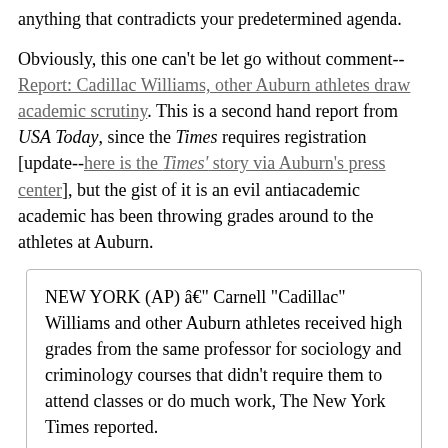anything that contradicts your predetermined agenda.
Obviously, this one can't be let go without comment-- Report: Cadillac Williams, other Auburn athletes draw academic scrutiny. This is a second hand report from USA Today, since the Times requires registration [update--here is the Times' story via Auburn's press center], but the gist of it is an evil antiacademic academic has been throwing grades around to the athletes at Auburn.
NEW YORK (AP) â€“ Carnell "Cadillac" Williams and other Auburn athletes received high grades from the same professor for sociology and criminology courses that didn't require them to attend classes or do much work, The New York Times reported.
Williams, the former star running back who now plays for the NFL's Tampa Bay Buccaneers, told the newspaper the only two classes he took the spring semester of his senior year were one-on-one courses with Professor Thomas Petee, the